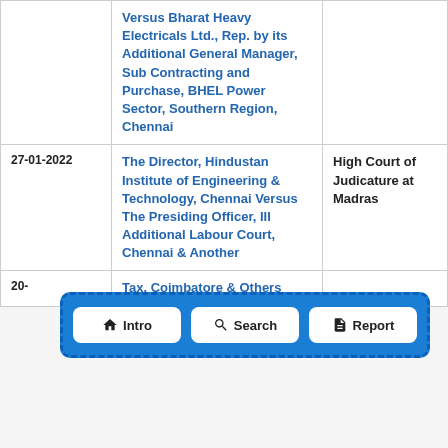| Date | Parties | Court |
| --- | --- | --- |
|  | Versus Bharat Heavy Electricals Ltd., Rep. by its Additional General Manager, Sub Contracting and Purchase, BHEL Power Sector, Southern Region, Chennai |  |
| 27-01-2022 | The Director, Hindustan Institute of Engineering & Technology, Chennai Versus The Presiding Officer, III Additional Labour Court, Chennai & Another | High Court of Judicature at Madras |
| 20-... | Tax, Coimbatore & Others |  |
[Figure (other): Navigation bar overlay with three buttons: Intro (home icon), Search (magnifying glass icon), Report (document icon), styled with blue dashed border background]